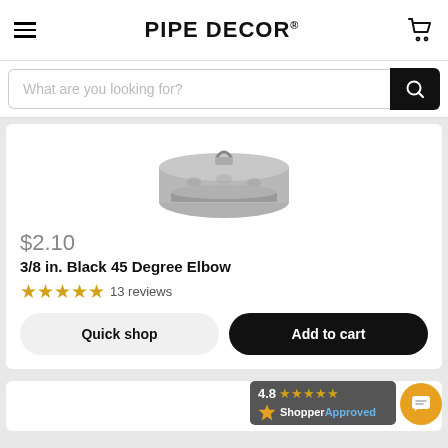PIPE DECOR
What are you looking for?
[Figure (photo): Bottom portion of a galvanized/silver metal pipe elbow fitting product photo on white background]
$2.10
3/8 in. Black 45 Degree Elbow
★★★★★ 13 reviews
Quick shop
Add to cart
[Figure (infographic): Shopper Approved badge showing 4.8 star rating with gold stars on dark background, and ShopperApproved logo below]
[Figure (other): Orange circular chat/message bubble button]